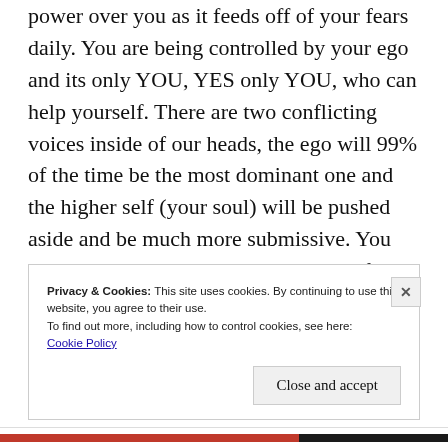power over you as it feeds off of your fears daily. You are being controlled by your ego and its only YOU, YES only YOU, who can help yourself. There are two conflicting voices inside of our heads, the ego will 99% of the time be the most dominant one and the higher self (your soul) will be pushed aside and be much more submissive. You need to learn to access your higher self and to shut off the ego. Much more easier said than done.
Privacy & Cookies: This site uses cookies. By continuing to use this website, you agree to their use.
To find out more, including how to control cookies, see here:
Cookie Policy
Close and accept